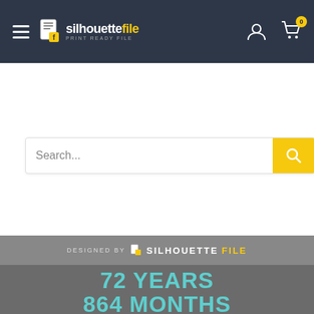silhouettefile navigation bar with logo, hamburger menu, user icon, and cart
Search...
[Figure (infographic): Product listing image showing '72 YEARS 864 MONTHS 26298 DAYS 631152 HOURS 37869120 MINUTES 2272147200 SECONDS OF BEING AWESOME' in colorful typography on a dark gray background. Designed by silhouettefile. Bottom bar shows: Cutting files SVG | PNG | EPS | PDF | DXF]